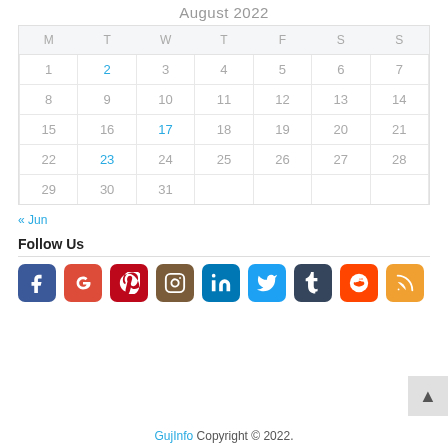August 2022
| M | T | W | T | F | S | S |
| --- | --- | --- | --- | --- | --- | --- |
| 1 | 2 | 3 | 4 | 5 | 6 | 7 |
| 8 | 9 | 10 | 11 | 12 | 13 | 14 |
| 15 | 16 | 17 | 18 | 19 | 20 | 21 |
| 22 | 23 | 24 | 25 | 26 | 27 | 28 |
| 29 | 30 | 31 |  |  |  |  |
« Jun
Follow Us
[Figure (other): Social media icon buttons: Facebook, Google+, Pinterest, Instagram, LinkedIn, Twitter, Tumblr, Reddit, RSS]
GujInfo Copyright © 2022.